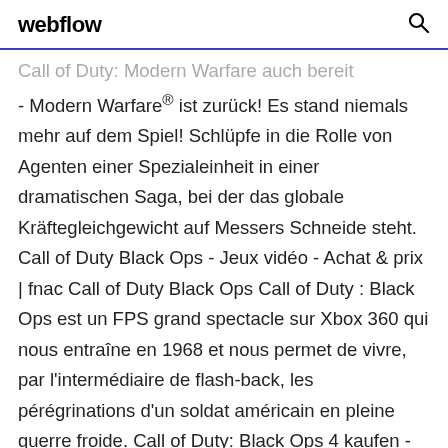webflow
Call of Duty: Modern Warfare auch bereit - Modern Warfare® ist zurück! Es stand niemals mehr auf dem Spiel! Schlüpfe in die Rolle von Agenten einer Spezialeinheit in einer dramatischen Saga, bei der das globale Kräftegleichgewicht auf Messers Schneide steht. Call of Duty Black Ops - Jeux vidéo - Achat & prix | fnac Call of Duty Black Ops Call of Duty : Black Ops est un FPS grand spectacle sur Xbox 360 qui nous entraîne en 1968 et nous permet de vivre, par l'intermédiaire de flash-back, les pérégrinations d'un soldat américain en pleine guerre froide. Call of Duty: Black Ops 4 kaufen - GameStop.at Call of Duty®: Black Ops 4 liefert das größte Zombies-Angebot, das